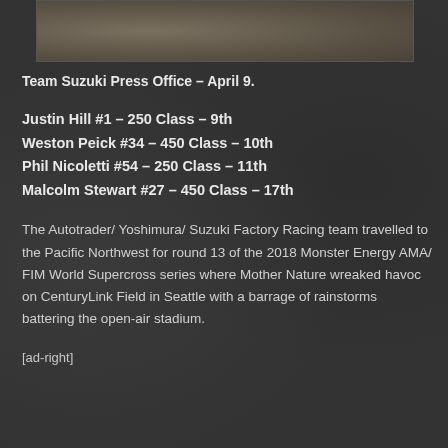[Figure (photo): Partial photo strip at top of page showing a textured outdoor surface]
Team Suzuki Press Office – April 9.
Justin Hill #1 – 250 Class – 9th
Weston Peick #34 – 450 Class – 10th
Phil Nicoletti #54 – 250 Class – 11th
Malcolm Stewart #27 – 450 Class – 17th
The Autotrader/ Yoshimura/ Suzuki Factory Racing team travelled to the Pacific Northwest for round 13 of the 2018 Monster Energy AMA/ FIM World Supercross series where Mother Nature wreaked havoc on CenturyLink Field in Seattle with a barrage of rainstorms battering the open-air stadium.
[ad-right]